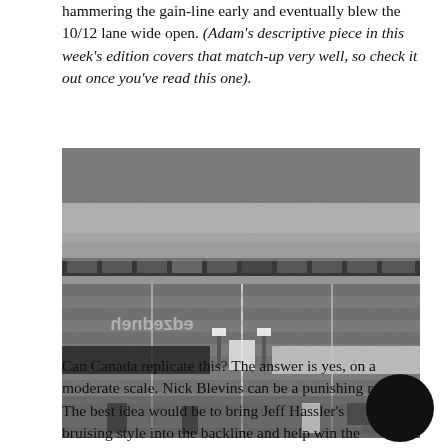hammering the gain-line early and eventually blew the 10/12 lane wide open. (Adam's descriptive piece in this week's edition covers that match-up very well, so check it out once you've read this one).
[Figure (photo): Black and white aerial photograph of a rugby match ceremony in a large stadium filled with spectators. Two teams are lined up facing each other on the field with officials holding flags in the center.]
Can Canada replicate this? The answer is yes, on a moderate scale. Nick Blevins can be a punishing r... The best idea would be to bring Jeff Hassler's bruising style into the backline and help win the battle to the gap.